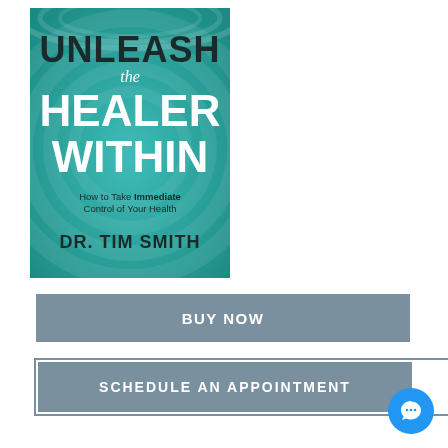[Figure (illustration): Book cover for 'Unleash the Healer Within' by Dr. Tim Smith. Teal/turquoise background with concentric wave circles. Large bold white text reads UNLEASH, then italic script 'the', then HEALER WITHIN. Subtitle: 'How to Take Immediate Control of Your Health'. Author name DR. TIM SMITH at bottom.]
BUY NOW
SCHEDULE AN APPOINTMENT